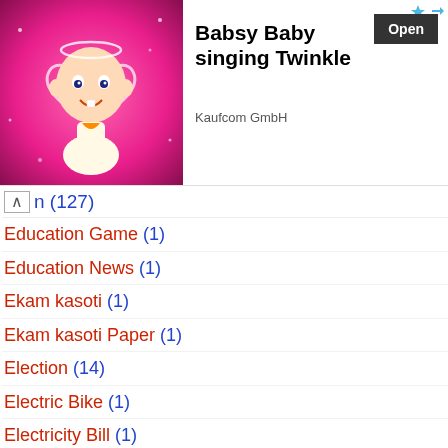[Figure (other): Advertisement banner showing a cartoon baby with a pink heart background and text 'Babsy Baby singing Twinkle' by Kaufcom GmbH with an Open button]
n (127)
Education Game (1)
Education News (1)
Ekam kasoti (1)
Ekam kasoti Paper (1)
Election (14)
Electric Bike (1)
Electricity Bill (1)
English Book PDF (1)
Entartenment (2)
Exam Schedule (4)
Eye test app (2)
Face App (2)
Farmers (1)
Film (1)